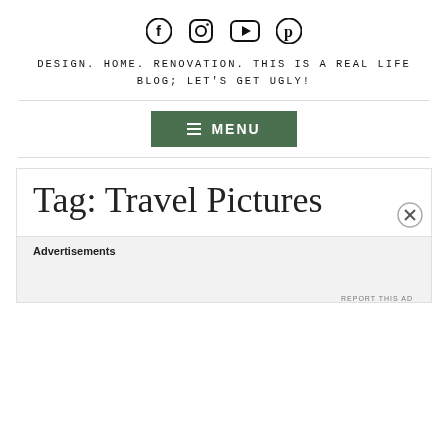[Figure (infographic): Social media icons: Facebook, Instagram, YouTube, Pinterest]
DESIGN. HOME. RENOVATION. THIS IS A REAL LIFE BLOG; LET'S GET UGLY!
[Figure (infographic): Green MENU button with hamburger icon]
Tag: Travel Pictures
Advertisements
REPORT THIS AD